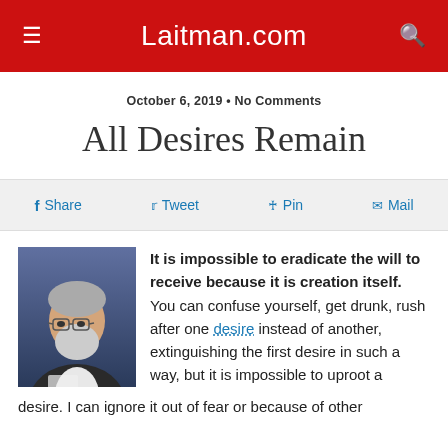Laitman.com
October 6, 2019 • No Comments
All Desires Remain
Share  Tweet  Pin  Mail
It is impossible to eradicate the will to receive because it is creation itself. You can confuse yourself, get drunk, rush after one desire instead of another, extinguishing the first desire in such a way, but it is impossible to uproot a desire. I can ignore it out of fear or because of other